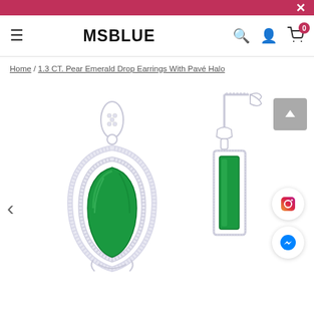MSBLUE
Home / 1.3 CT. Pear Emerald Drop Earrings With Pavé Halo
[Figure (photo): Front view of pear-shaped emerald drop earring with pavé diamond double halo in white gold setting]
[Figure (photo): Side profile view of pear-shaped emerald drop earring with screw-back post in white gold setting]